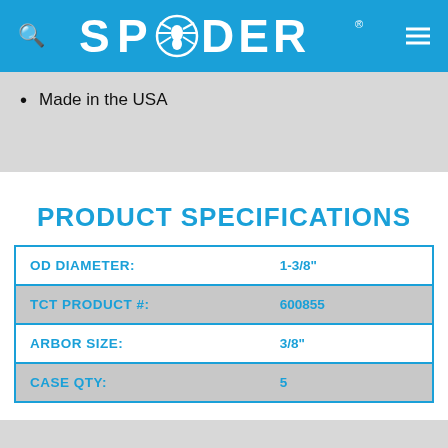SPYDER
Made in the USA
PRODUCT SPECIFICATIONS
| Specification | Value |
| --- | --- |
| OD DIAMETER: | 1-3/8" |
| TCT PRODUCT #: | 600855 |
| ARBOR SIZE: | 3/8" |
| CASE QTY: | 5 |